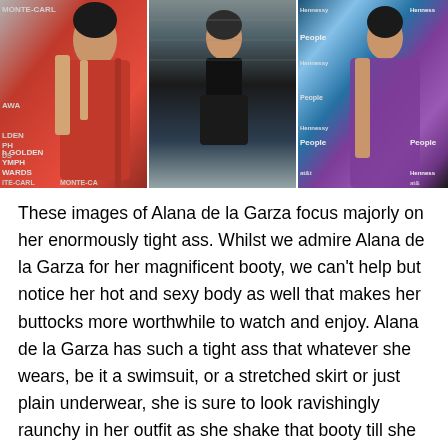[Figure (photo): Three photos of Alana de la Garza: left photo in a red backless gown at the Golden Nymph Awards (Monte Carlo), center photo in a black outfit, right photo in a purple backless gown at an event with AT&T, People, and Hennessy sponsors.]
These images of Alana de la Garza focus majorly on her enormously tight ass. Whilst we admire Alana de la Garza for her magnificent booty, we can't help but notice her hot and sexy body as well that makes her buttocks more worthwhile to watch and enjoy. Alana de la Garza has such a tight ass that whatever she wears, be it a swimsuit, or a stretched skirt or just plain underwear, she is sure to look ravishingly raunchy in her outfit as she shake that booty till she drop hard.